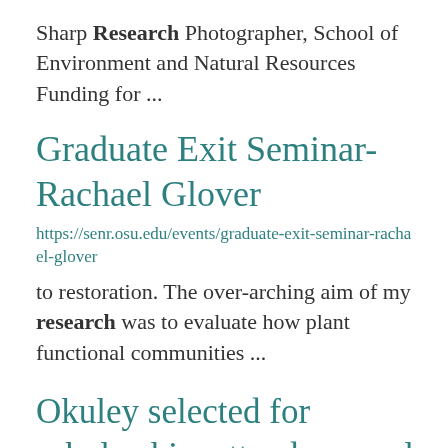Sharp Research Photographer, School of Environment and Natural Resources Funding for ...
Graduate Exit Seminar- Rachael Glover
https://senr.osu.edu/events/graduate-exit-seminar-rachael-glover
to restoration. The over-arching aim of my research was to evaluate how plant functional communities ...
Okuley selected for scholarship, attends annual Ag Media Summit
https://senr.osu.edu/...